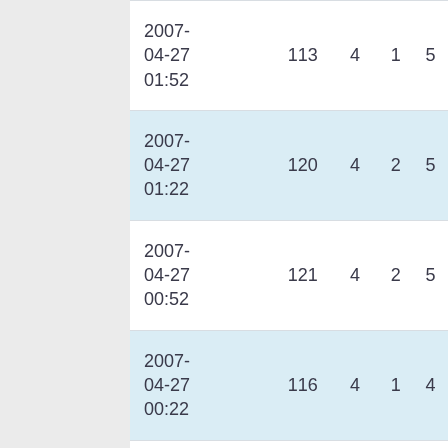| 2007-04-27 01:52 | 113 | 4 | 1 | 5 |
| 2007-04-27 01:22 | 120 | 4 | 2 | 5 |
| 2007-04-27 00:52 | 121 | 4 | 2 | 5 |
| 2007-04-27 00:22 | 116 | 4 | 1 | 4 |
| 2007-04-26 23:52 | 127 | 11 | 1 | 5 |
| 2007-04-26 23:22 | 125 | 4 | 1 | 5 |